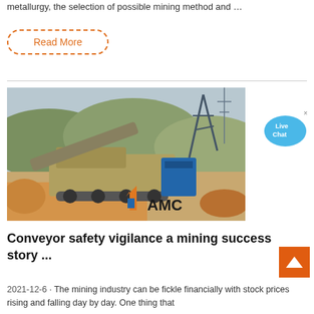metallurgy, the selection of possible mining method and …
Read More
[Figure (photo): Mining site with heavy machinery and conveyor equipment, AMC logo visible in bottom right corner]
[Figure (infographic): Live Chat bubble icon in blue]
Conveyor safety vigilance a mining success story ...
2021-12-6 · The mining industry can be fickle financially with stock prices rising and falling day by day. One thing that